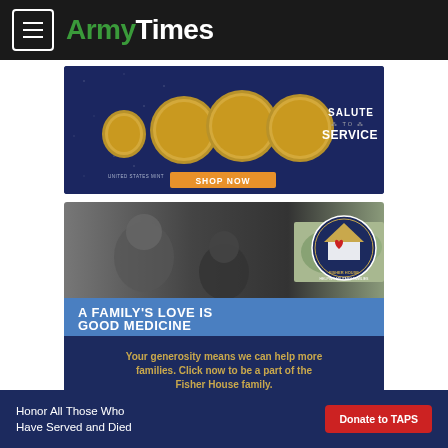ArmyTimes
[Figure (illustration): US Mint Salute to Service advertisement banner showing gold coins and 'SHOP NOW' button on dark blue background]
[Figure (illustration): Fisher House Foundation advertisement with photo of family, tagline 'A FAMILY'S LOVE IS GOOD MEDICINE' and text 'Your generosity means we can help more families. Click now to be a part of the Fisher House family.']
[Figure (illustration): Bottom sticky banner ad: 'Honor All Those Who Have Served and Died' with red 'Donate to TAPS' button]